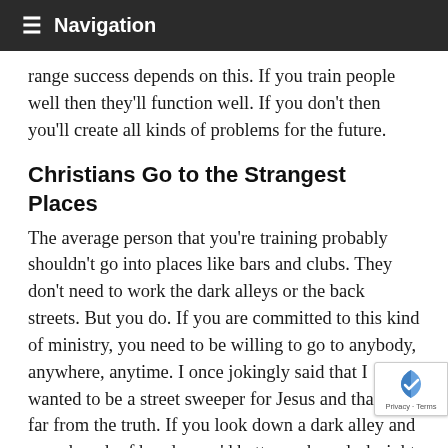≡ Navigation
range success depends on this. If you train people well then they'll function well. If you don't then you'll create all kinds of problems for the future.
Christians Go to the Strangest Places
The average person that you're training probably shouldn't go into places like bars and clubs. They don't need to work the dark alleys or the back streets. But you do. If you are committed to this kind of ministry, you need to be willing to go to anybody, anywhere, anytime. I once jokingly said that I wanted to be a street sweeper for Jesus and that's not far from the truth. If you look down a dark alley and see a bunch of hoods, you'd better make a dash right down that and talk to them about Jesus Christ. Keep your Bi out so they'll know who you are and what you're doing